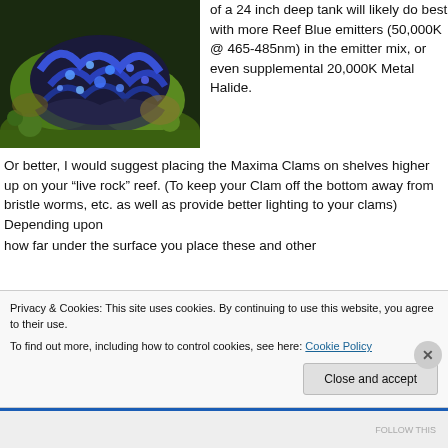[Figure (photo): Close-up photograph of a blue and green giant clam (Tridacna maxima) on a reef with colorful mantle visible.]
of a 24 inch deep tank will likely do best with more Reef Blue emitters (50,000K @ 465-485nm) in the emitter mix, or even supplemental 20,000K Metal Halide.
Or better, I would suggest placing the Maxima Clams on shelves higher up on your “live rock” reef. (To keep your Clam off the bottom away from bristle worms, etc. as well as provide better lighting to your clams) Depending upon how far under the surface you place these and other
Privacy & Cookies: This site uses cookies. By continuing to use this website, you agree to their use.
To find out more, including how to control cookies, see here: Cookie Policy